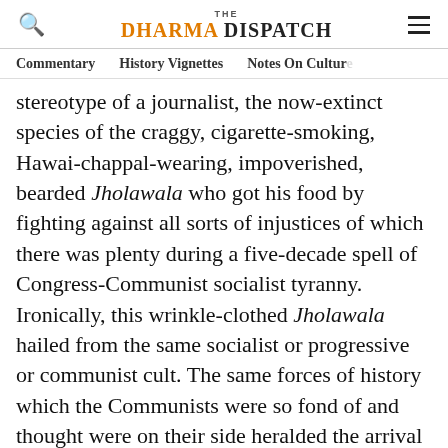THE DHARMA DISPATCH
Commentary    History Vignettes    Notes On Culture
stereotype of a journalist, the now-extinct species of the craggy, cigarette-smoking, Hawai-chappal-wearing, impoverished, bearded Jholawala who got his food by fighting against all sorts of injustices of which there was plenty during a five-decade spell of Congress-Communist socialist tyranny. Ironically, this wrinkle-clothed Jholawala hailed from the same socialist or progressive or communist cult. The same forces of history which the Communists were so fond of and thought were on their side heralded the arrival of blogging, which slowly punctured the fat and outworn tire of this myth, and social media completely blew it to shards.